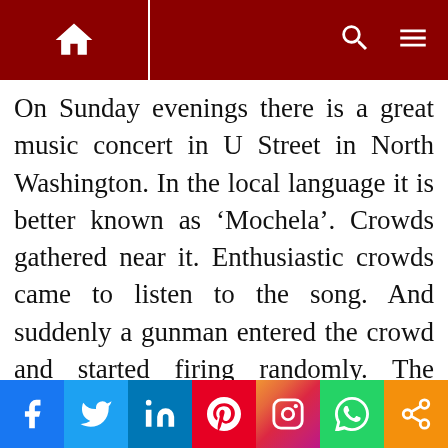Navigation bar with home icon, search icon, and menu icon
On Sunday evenings there is a great music concert in U Street in North Washington. In the local language it is better known as ‘Mochela’. Crowds gathered near it. Enthusiastic crowds came to listen to the song. And suddenly a gunman entered the crowd and started firing randomly. The policeman in charge of security at the concert was also shot. Police sources also said that the condition of several ordinary people is critical. They were rushed to a local
Social share bar: Facebook, Twitter, LinkedIn, Pinterest, Instagram, WhatsApp, Share